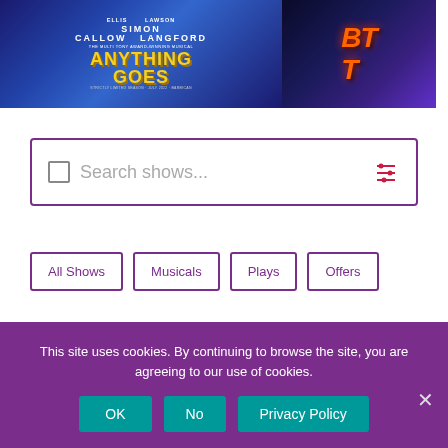[Figure (photo): Promotional poster for 'Anything Goes' musical featuring cast including Simon Callow and Bonnie Langford, with blue background and gold text]
[Figure (photo): Promotional image for Back to the Future The Musical with lightning effects and a DeLorean car]
Search shows...
All Shows
Musicals
Plays
Offers
This site uses cookies. By continuing to browse the site, you are agreeing to our use of cookies.
OK
No
Privacy Policy